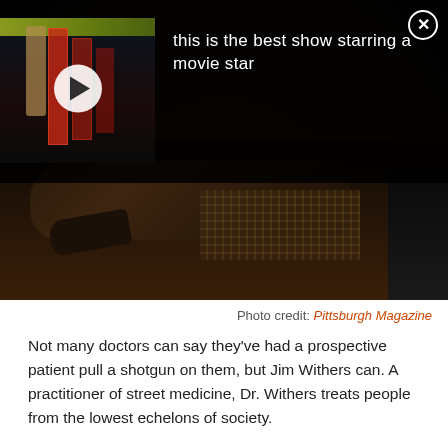[Figure (photo): Dark nighttime photo of a person lying on a city sidewalk near a metal grate, with another person standing to the right. An ad overlay appears at the top showing a video thumbnail and text 'this is the best show starring a movie star' with a close button.]
Photo credit: Pittsburgh Magazine
Not many doctors can say they've had a prospective patient pull a shotgun on them, but Jim Withers can. A practitioner of street medicine, Dr. Withers treats people from the lowest echelons of society.
Inspired by his mother, who served the needy through Meals on Wheels, and his father, a doctor who made house calls, Dr. Withers began tending to the homeless in 1992.